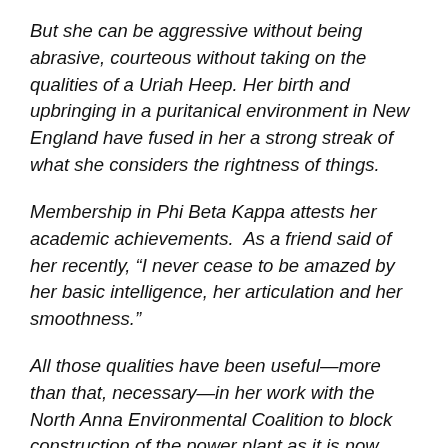But she can be aggressive without being abrasive, courteous without taking on the qualities of a Uriah Heep. Her birth and upbringing in a puritanical environment in New England have fused in her a strong streak of what she considers the rightness of things.
Membership in Phi Beta Kappa attests her academic achievements.  As a friend said of her recently, “I never cease to be amazed by her basic intelligence, her articulation and her smoothness.”
All those qualities have been useful—more than that, necessary—in her work with the North Anna Environmental Coalition to block construction of the power plant as it is now planned.
In preparation for a March 20 [1974] hearing on the safety